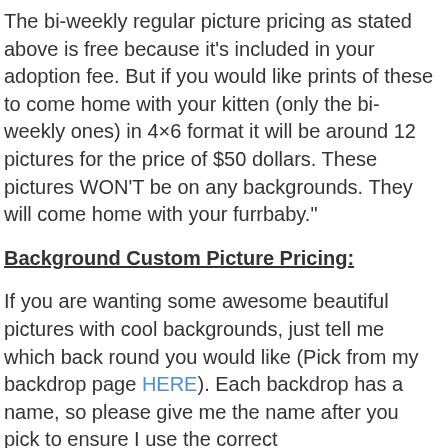The bi-weekly regular picture pricing as stated above is free because it’s included in your adoption fee. But if you would like prints of these to come home with your kitten (only the bi-weekly ones) in 4×6 format it will be around 12 pictures for the price of $50 dollars. These pictures WON’T be on any backgrounds. They will come home with your furrbaby.”
Background Custom Picture Pricing:
If you are wanting some awesome beautiful pictures with cool backgrounds, just tell me which back round you would like (Pick from my backdrop page HERE). Each backdrop has a name, so please give me the name after you pick to ensure I use the correct